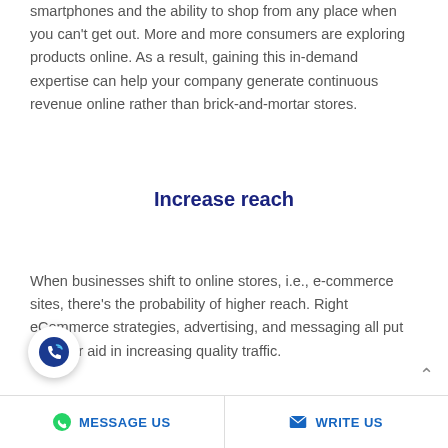smartphones and the ability to shop from any place when you can't get out. More and more consumers are exploring products online. As a result, gaining this in-demand expertise can help your company generate continuous revenue online rather than brick-and-mortar stores.
Increase reach
When businesses shift to online stores, i.e., e-commerce sites, there's the probability of higher reach. Right eCommerce strategies, advertising, and messaging all put together aid in increasing quality traffic.
MESSAGE US   WRITE US